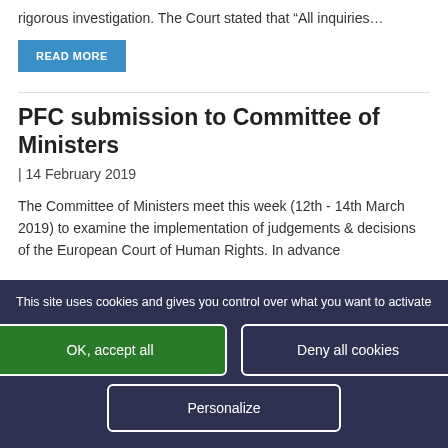rigorous investigation. The Court stated that “All inquiries…
READ MORE
PFC submission to Committee of Ministers
| 14 February 2019
The Committee of Ministers meet this week (12th - 14th March 2019) to examine the implementation of judgements & decisions of the European Court of Human Rights. In advance
This site uses cookies and gives you control over what you want to activate
OK, accept all
Deny all cookies
Personalize